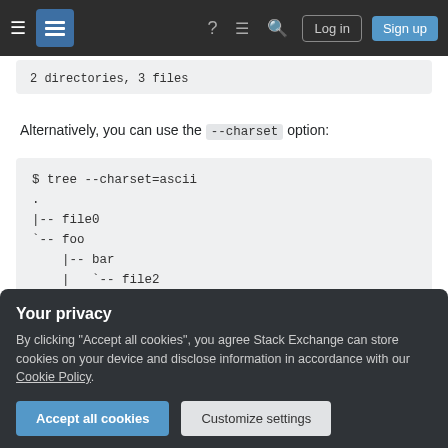Stack Exchange navigation bar with hamburger menu, logo, help, chat, search icons, Log in and Sign up buttons
2 directories, 3 files
Alternatively, you can use the --charset option:
$ tree --charset=ascii
.
|-- file0
`-- foo
    |-- bar
    |   `-- file2
    `-- file1

2 directories, 3 files
Your privacy
By clicking "Accept all cookies", you agree Stack Exchange can store cookies on your device and disclose information in accordance with our Cookie Policy.
Accept all cookies  Customize settings